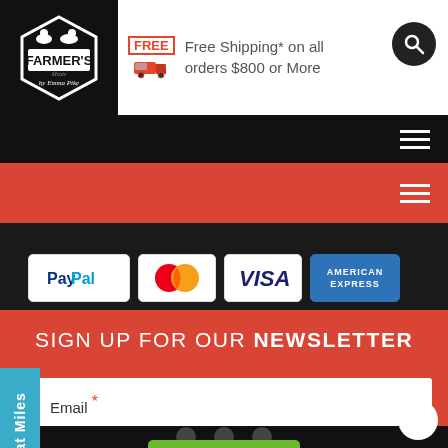[Figure (logo): Farmer's Market by Emma Pike logo in white on black hexagonal badge with cow and sheep silhouette]
Free Shipping* on all orders $800 or More
[Figure (infographic): Payment method icons: PayPal, MasterCard, Visa, American Express]
SIGN UP FOR OUR NEWSLETTER
Email *
[Figure (other): Green Submit button]
Meat Miles